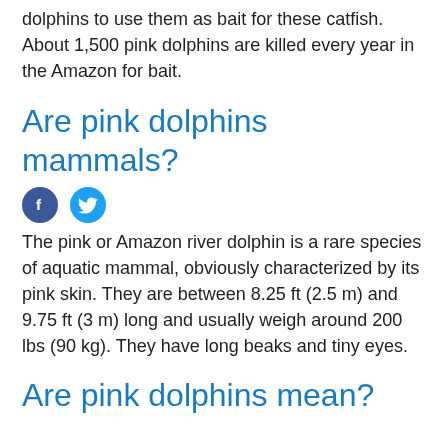dolphins to use them as bait for these catfish. About 1,500 pink dolphins are killed every year in the Amazon for bait.
Are pink dolphins mammals?
[Figure (other): Facebook and Twitter social share icons]
The pink or Amazon river dolphin is a rare species of aquatic mammal, obviously characterized by its pink skin. They are between 8.25 ft (2.5 m) and 9.75 ft (3 m) long and usually weigh around 200 lbs (90 kg). They have long beaks and tiny eyes.
Are pink dolphins mean?